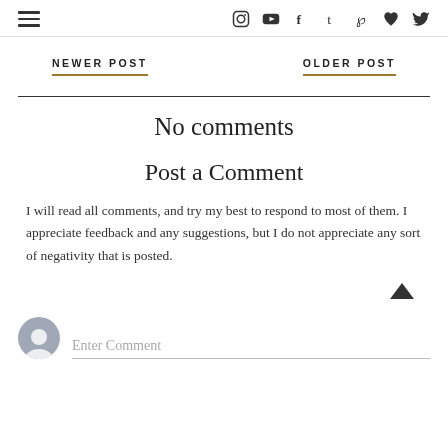Navigation header with hamburger menu and social icons
NEWER POST
OLDER POST
No comments
Post a Comment
I will read all comments, and try my best to respond to most of them. I appreciate feedback and any suggestions, but I do not appreciate any sort of negativity that is posted.
Enter Comment